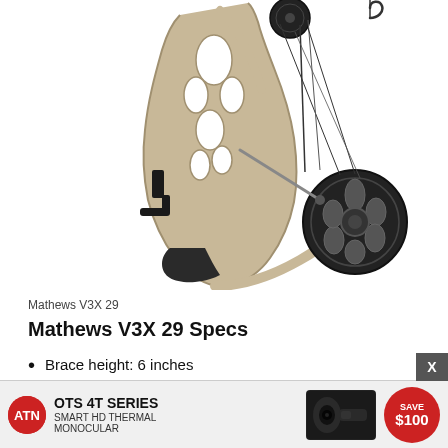[Figure (photo): Mathews V3X 29 compound bow shown hanging, with silver/tan riser and dark cam system, viewed from the front-side angle against white background]
Mathews V3X 29
Mathews V3X 29 Specs
Brace height: 6 inches
Draw weight: 60, 65, 70 and 75 pounds
(partially obscured)
(partially obscured)
[Figure (infographic): Advertisement overlay: ATN OTS 4T Series Smart HD Thermal Monocular - Save $100]